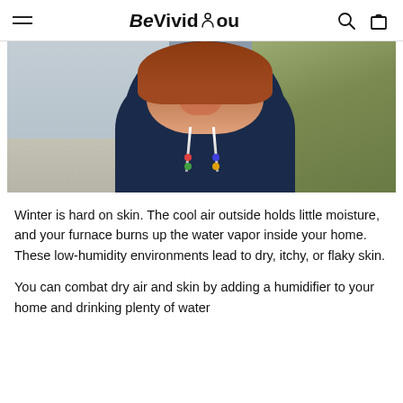Be Vivid You
[Figure (photo): A woman with red hair laughing and smiling, wearing a navy blue hooded raincoat with colorful drawstrings, photographed outdoors near a beach or sandy area.]
Winter is hard on skin. The cool air outside holds little moisture, and your furnace burns up the water vapor inside your home. These low-humidity environments lead to dry, itchy, or flaky skin.
You can combat dry air and skin by adding a humidifier to your home and drinking plenty of water